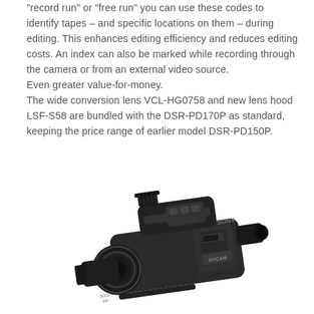“record run” or “free run” you can use these codes to identify tapes – and specific locations on them – during editing. This enhances editing efficiency and reduces editing costs. An index can also be marked while recording through the camera or from an external video source.
Even greater value-for-money.
The wide conversion lens VCL-HG0758 and new lens hood LSF-S58 are bundled with the DSR-PD170P as standard, keeping the price range of earlier model DSR-PD150P.
[Figure (photo): Sony DVCAM professional camcorder (DSR-PD170P) shown at an angle, in dark grey/black color, with lens hood, microphone on top, viewfinder on right, and DVCAM branding visible.]